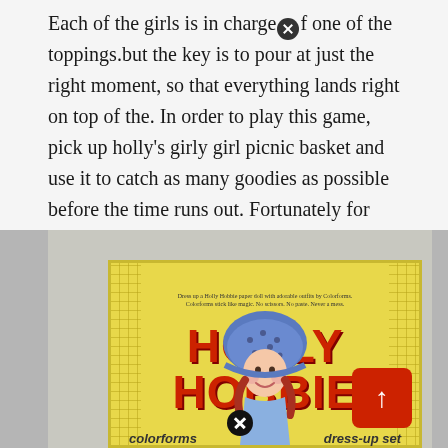Each of the girls is in charge of one of the toppings.but the key is to pour at just the right moment, so that everything lands right on top of the. In order to play this game, pick up holly's girly girl picnic basket and use it to catch as many goodies as possible before the time runs out. Fortunately for her, robby and kyle decided to challenge cute holly to a water balloon fight.
[Figure (photo): Photo of a Holly Hobbie Colorforms Dress-Up Set box. The box is yellow with a bold red 'HOLLY HOBBIE' title, 'colorforms' on the lower left, 'dress-up set' on the lower right, and an illustrated character of Holly Hobbie (a girl with a blue bonnet and red braids) at the bottom. There is a scroll-up button (red rounded rectangle with up arrow) in the bottom right corner.]